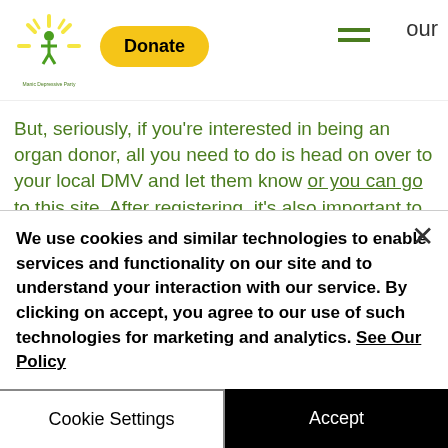Donate [navigation header with logo and hamburger menu]
But, seriously, if you're interested in being an organ donor, all you need to do is head on over to your local DMV and let them know or you can go to this site. After registering, it's also important to communicate the fact you have to your loved ones.
For more options on recycling, check out http://www.recyclingcenters.org/Minnesota/
We use cookies and similar technologies to enable services and functionality on our site and to understand your interaction with our service. By clicking on accept, you agree to our use of such technologies for marketing and analytics. See Our Policy
Cookie Settings
Accept